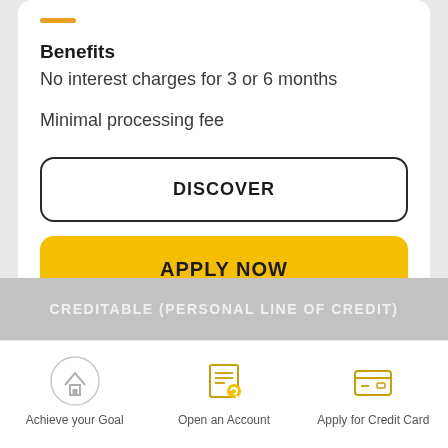Benefits
No interest charges for 3 or 6 months
Minimal processing fee
[Figure (screenshot): DISCOVER button - outlined white button with black border and rounded corners]
[Figure (screenshot): APPLY NOW button - yellow/gold filled button with rounded corners]
CREDITABLE (PERSONAL LINE OF CREDIT)
[Figure (infographic): Bottom navigation bar with three icons: Achieve your Goal (house icon), Open an Account (key/document icon), Apply for Credit Card (credit card icon)]